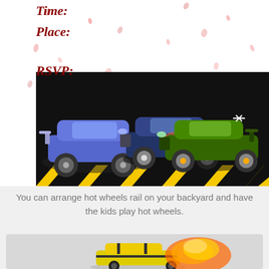Time:
Place:
RSVP:
[Figure (illustration): Three racing cars (purple/blue, dark blue, green) lined up on a black and yellow hazard stripe background with confetti.]
You can arrange hot wheels rail on your backyard and have the kids play hot wheels.
[Figure (illustration): Yellow hot wheels car with flames/fire effect on grey background.]